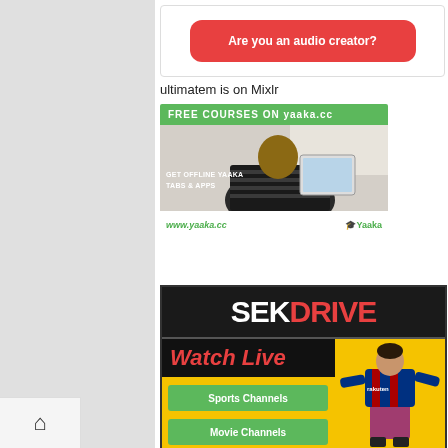[Figure (screenshot): Red rounded button with white text 'Are you an audio creator?']
ultimatem is on Mixlr
[Figure (screenshot): Advertisement for yaaka.cc with green header 'FREE COURSES ON yaaka.cc', photo of child with tablet, text 'GET OFFLINE YAAKA TABS & APPS', URL www.yaaka.cc and Yaaka logo]
[Figure (screenshot): Advertisement for SEKDRIVE showing logo with SEK in white and DRIVE in red on dark background, below Watch Live banner, Sports Channels and Movie Channels green buttons, soccer player figure on yellow background]